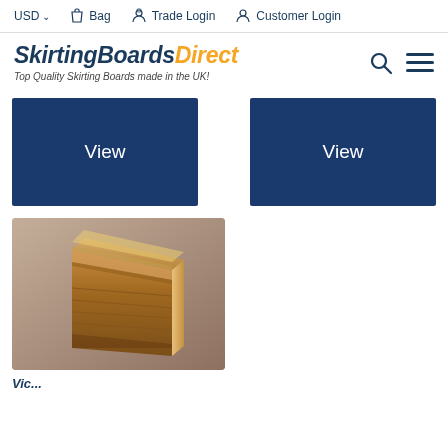USD  Bag  Trade Login  Customer Login
[Figure (logo): SkirtingBoardsDirect logo with tagline: Top Quality Skirting Boards made in the UK!]
[Figure (other): Two blue 'View' buttons side by side]
[Figure (photo): 3D rendered image of a wooden skirting board on beige background]
Vic...